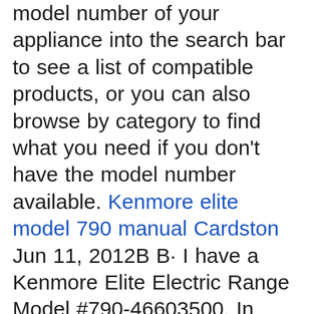model number of your appliance into the search bar to see a list of compatible products, or you can also browse by category to find what you need if you don't have the model number available. Kenmore elite model 790 manual Cardston Jun 11, 2012B B· I have a Kenmore Elite Electric Range Model #790-46603500. In accidentally brushing the key pad the oven door locked as if for cleaning. Using the cancel key produced no results. Consequently, you cannot use any of the range's function in this state. This happened once before and I was given instructions of key pad combination to unlock the door.